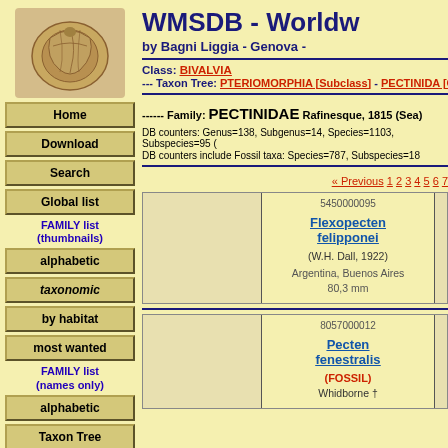WMSDB - Worldw
by Bagni Liggia - Genova -
Class: BIVALVIA
--- Taxon Tree: PTERIOMORPHIA [Subclass] - PECTINIDA [Ord
------ Family: PECTINIDAE Rafinesque, 1815 (Sea)
DB counters: Genus=138, Subgenus=14, Species=1103, Subspecies=95 (
DB counters include Fossil taxa: Species=787, Subspecies=18
« Previous 1 2 3 4 5 6 7
[Figure (photo): Empty image box for Flexopecten felipponei]
5450000095
Flexopecten felipponei
(W.H. Dall, 1922)
Argentina, Buenos Aires
80,3 mm
[Figure (photo): Empty image box for Pecten fenestralis]
8057000012
Pecten fenestralis
(FOSSIL)
Whidborne †